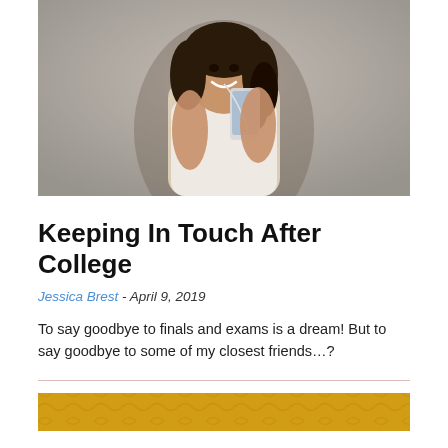[Figure (photo): Young woman smiling and looking at her smartphone with earphones, leaning against a grey wall]
Keeping In Touch After College
Jessica Brest - April 9, 2019
To say goodbye to finals and exams is a dream! But to say goodbye to some of my closest friends…?
[Figure (photo): Partial view of a gold/yellow patterned image at the bottom of the page]